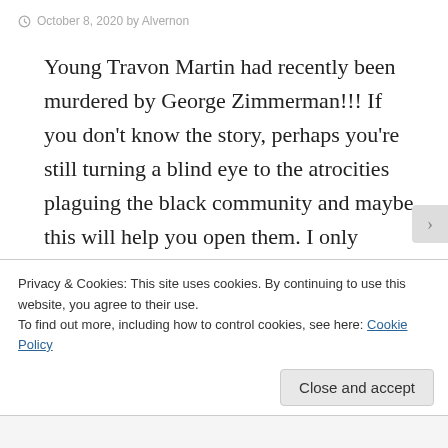October 8, 2020 by Alvernon
Young Travon Martin had recently been murdered by George Zimmerman!!! If you don't know the story, perhaps you're still turning a blind eye to the atrocities plaguing the black community and maybe this will help you open them. I only mention Trayvon's name to bring context and timeline to this story, but the issues are unfortunately very current.
Privacy & Cookies: This site uses cookies. By continuing to use this website, you agree to their use.
To find out more, including how to control cookies, see here: Cookie Policy